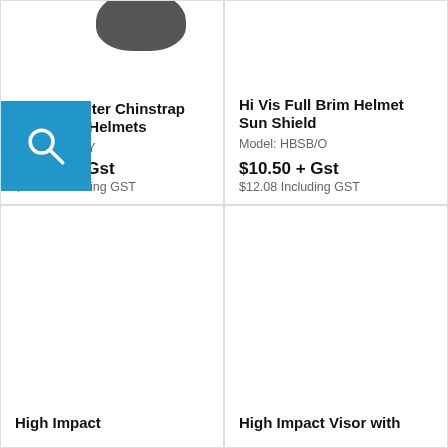Heightmaster Chinstrap for Nexus Helmets
Model: S30NY
$28.85 + Gst
$33.18 Including GST
Hi Vis Full Brim Helmet Sun Shield
Model: HBSB/O
$10.50 + Gst
$12.08 Including GST
High Impact
High Impact Visor with